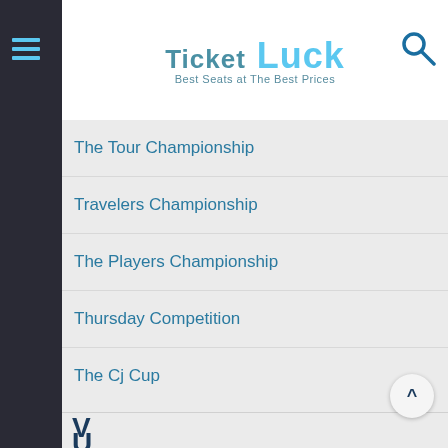TicketLuck — Best Seats at The Best Prices
The Tour Championship
Travelers Championship
The Players Championship
Thursday Competition
The Cj Cup
U
Us
Us Open Championship
Us Women S Golf